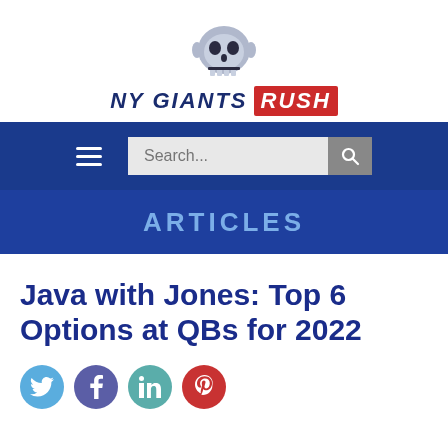[Figure (logo): NY Giants Rush logo with skull graphic above text reading NY GIANTS RUSH, where RUSH is in a red badge]
NY GIANTS RUSH
ARTICLES
Java with Jones: Top 6 Options at QBs for 2022
[Figure (infographic): Social media share icons: Twitter (blue), Facebook (purple), LinkedIn (teal), Pinterest (red)]